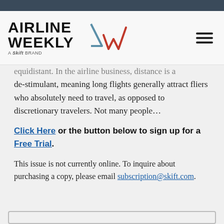Airline Weekly — A Skift Brand
equidistant. In the airline business, distance is a de-stimulant, meaning long flights generally attract fliers who absolutely need to travel, as opposed to discretionary travelers. Not many people...
Click Here or the button below to sign up for a Free Trial.
This issue is not currently online. To inquire about purchasing a copy, please email subscription@skift.com.